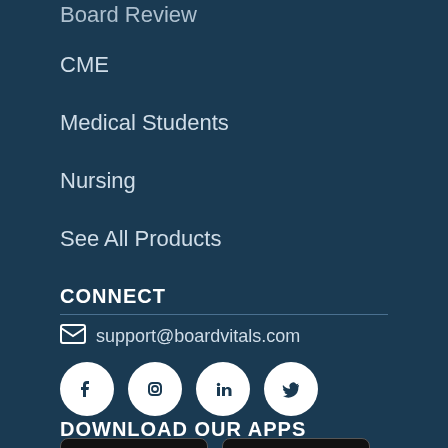Board Review
CME
Medical Students
Nursing
See All Products
CONNECT
support@boardvitals.com
[Figure (other): Social media icons: Facebook, Instagram, LinkedIn, Twitter]
DOWNLOAD OUR APPS
[Figure (other): App store badges: Download on the App Store and GET IT ON Google Play]